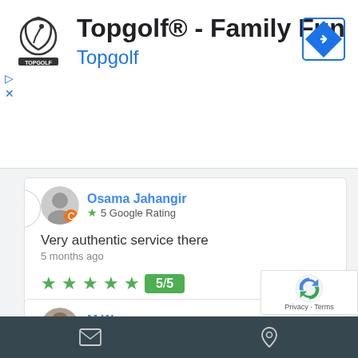[Figure (screenshot): Topgolf app advertisement banner with logo, title 'Topgolf® - Family Fun', subtitle 'Topgolf', navigation arrow icon, and play/close controls]
Osama Jahangir
★ 5 Google Rating
Very authentic service there
5 months ago
★★★★★  5/5
Very authentic service there
M Waqas
★ 1 Google Rating
✉  📍  Privacy · Terms